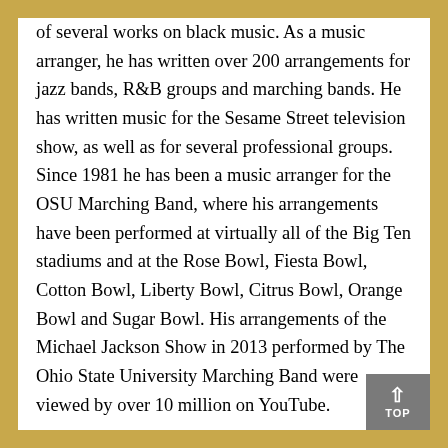of several works on black music. As a music arranger, he has written over 200 arrangements for jazz bands, R&B groups and marching bands. He has written music for the Sesame Street television show, as well as for several professional groups. Since 1981 he has been a music arranger for the OSU Marching Band, where his arrangements have been performed at virtually all of the Big Ten stadiums and at the Rose Bowl, Fiesta Bowl, Cotton Bowl, Liberty Bowl, Citrus Bowl, Orange Bowl and Sugar Bowl. His arrangements of the Michael Jackson Show in 2013 performed by The Ohio State University Marching Band were viewed by over 10 million on YouTube.
He has directed the OSU Jazz Ensemble since